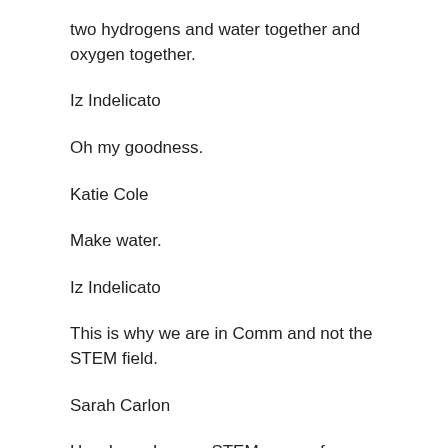two hydrogens and water together and oxygen together.
Iz Indelicato
Oh my goodness.
Katie Cole
Make water.
Iz Indelicato
This is why we are in Comm and not the STEM field.
Sarah Carlon
Hey, I was I was a STEM person for a year.